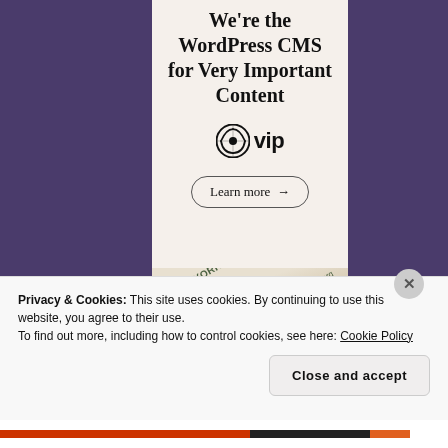We're the WordPress CMS for Very Important Content
[Figure (logo): WordPress VIP logo — WordPress circle icon followed by 'vip' text]
Learn more →
[Figure (photo): Collage of newspaper pages including New York Post, shown at an angle]
Privacy & Cookies: This site uses cookies. By continuing to use this website, you agree to their use.
To find out more, including how to control cookies, see here: Cookie Policy
Close and accept